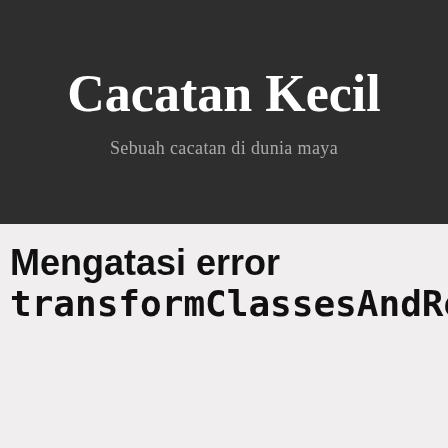Cacatan Kecil
Sebuah cacatan di dunia maya
Mengatasi error transformClassesAndResourcesWithProguardForRelease